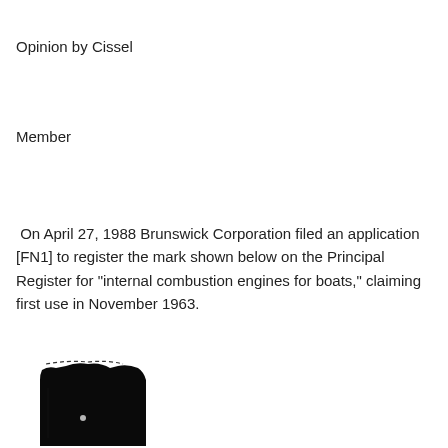Opinion by Cissel
Member
On April 27, 1988 Brunswick Corporation filed an application [FN1] to register the mark shown below on the Principal Register for "internal combustion engines for boats," claiming first use in November 1963.
[Figure (photo): Partially visible trademark/logo image, black silhouette, lower left of page, image is cut off at bottom edge.]